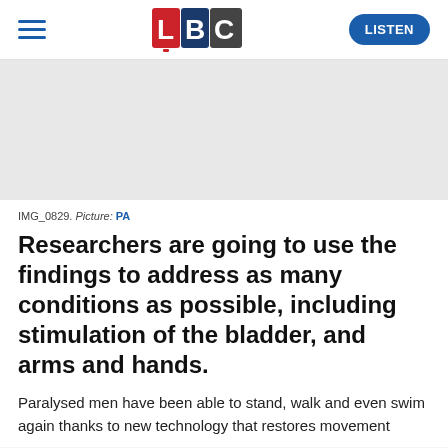[Figure (logo): LBC radio logo with red L, blue B, and black C letters, and hamburger menu icon on left, LISTEN button on right]
[Figure (photo): Gray placeholder image area (IMG_0829)]
IMG_0829. Picture: PA
Researchers are going to use the findings to address as many conditions as possible, including stimulation of the bladder, and arms and hands.
Paralysed men have been able to stand, walk and even swim again thanks to new technology that restores movement